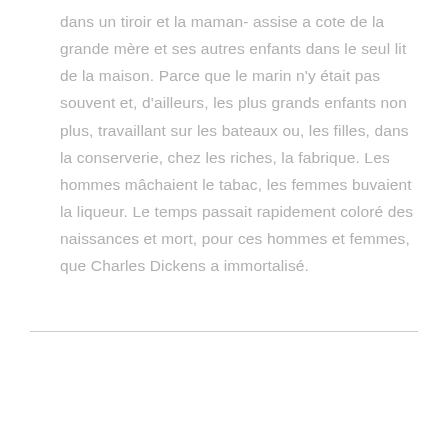dans un tiroir et la maman- assise a cote de la grande mère et ses autres enfants dans le seul lit de la maison. Parce que le marin n'y était pas souvent et, d'ailleurs, les plus grands enfants non plus, travaillant sur les bateaux ou, les filles, dans la conserverie, chez les riches, la fabrique. Les hommes mâchaient le tabac, les femmes buvaient la liqueur. Le temps passait rapidement coloré des naissances et mort, pour ces hommes et femmes, que Charles Dickens a immortalisé.